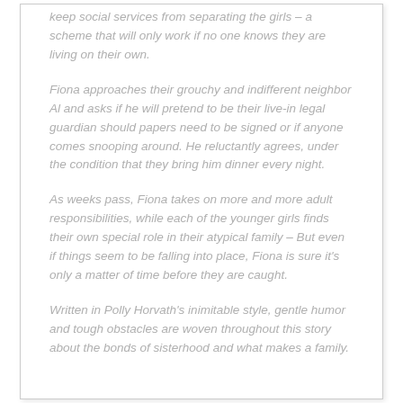keep social services from separating the girls – a scheme that will only work if no one knows they are living on their own.
Fiona approaches their grouchy and indifferent neighbor Al and asks if he will pretend to be their live-in legal guardian should papers need to be signed or if anyone comes snooping around. He reluctantly agrees, under the condition that they bring him dinner every night.
As weeks pass, Fiona takes on more and more adult responsibilities, while each of the younger girls finds their own special role in their atypical family – But even if things seem to be falling into place, Fiona is sure it's only a matter of time before they are caught.
Written in Polly Horvath's inimitable style, gentle humor and tough obstacles are woven throughout this story about the bonds of sisterhood and what makes a family.